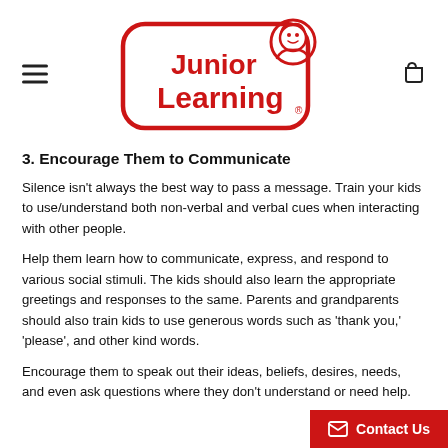[Figure (logo): Junior Learning logo — red rounded rectangle outline with 'Junior Learning' text in red and a cartoon child character icon]
3. Encourage Them to Communicate
Silence isn't always the best way to pass a message. Train your kids to use/understand both non-verbal and verbal cues when interacting with other people.
Help them learn how to communicate, express, and respond to various social stimuli. The kids should also learn the appropriate greetings and responses to the same. Parents and grandparents should also train kids to use generous words such as 'thank you,' 'please', and other kind words.
Encourage them to speak out their ideas, beliefs, desires, needs, and even ask questions where they don't understand or need help.